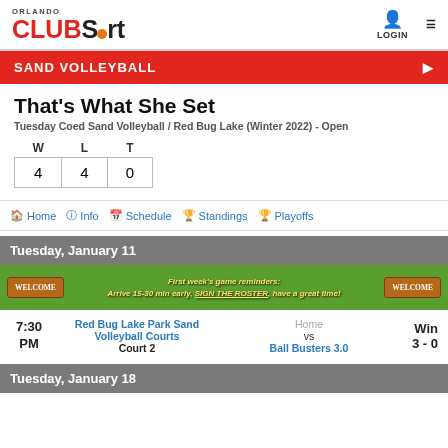Orlando CLUBSport
SAND VOLLEYBALL
That's What She Set
Tuesday Coed Sand Volleyball / Red Bug Lake (Winter 2022) - Open
| W | L | T |
| --- | --- | --- |
| 4 | 4 | 0 |
Home   Info   Schedule   Standings   Playoffs
Tuesday, January 11
[Figure (infographic): Welcome banner: First week's game reminders: Arrive 15-30 min early, SIGN THE ROSTER, have a great time!]
7:30 PM   Red Bug Lake Park Sand Volleyball Courts   Court 2   Home vs Ball Busters 3.0   Win 3 - 0
Tuesday, January 18